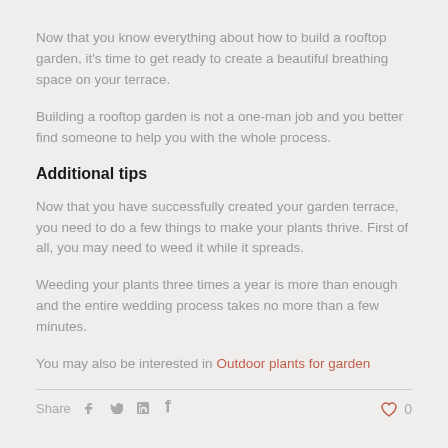Now that you know everything about how to build a rooftop garden, it's time to get ready to create a beautiful breathing space on your terrace.
Building a rooftop garden is not a one-man job and you better find someone to help you with the whole process.
Additional tips
Now that you have successfully created your garden terrace, you need to do a few things to make your plants thrive. First of all, you may need to weed it while it spreads.
Weeding your plants three times a year is more than enough and the entire wedding process takes no more than a few minutes.
You may also be interested in Outdoor plants for garden
Share  f  t  in  P                                              ♥ 0